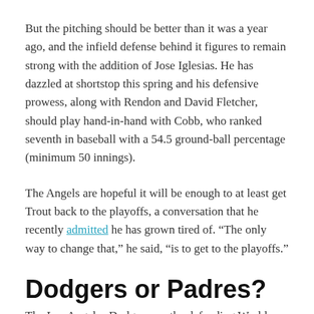But the pitching should be better than it was a year ago, and the infield defense behind it figures to remain strong with the addition of Jose Iglesias. He has dazzled at shortstop this spring and his defensive prowess, along with Rendon and David Fletcher, should play hand-in-hand with Cobb, who ranked seventh in baseball with a 54.5 ground-ball percentage (minimum 50 innings).
The Angels are hopeful it will be enough to at least get Trout back to the playoffs, a conversation that he recently admitted he has grown tired of. “The only way to change that,” he said, “is to get to the playoffs.”
Dodgers or Padres?
The Los Angeles Dodgers are the defending World Series champions. The San Diego Padres believe this is the first